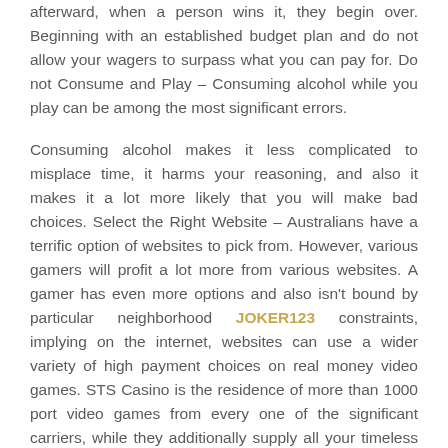afterward, when a person wins it, they begin over. Beginning with an established budget plan and do not allow your wagers to surpass what you can pay for. Do not Consume and Play – Consuming alcohol while you play can be among the most significant errors.
Consuming alcohol makes it less complicated to misplace time, it harms your reasoning, and also it makes it a lot more likely that you will make bad choices. Select the Right Website – Australians have a terrific option of websites to pick from. However, various gamers will profit a lot more from various websites. A gamer has even more options and also isn't bound by particular neighborhood JOKER123 constraints, implying on the internet, websites can use a wider variety of high payment choices on real money video games. STS Casino is the residence of more than 1000 port video games from every one of the significant carriers, while they additionally supply all your timeless casino favorites as well. In addition, seek websites that provide great welcome perks and benefit programs. Appearance For VIP Benefits – If online gambling is most likely to be a routine task, after that you need to take